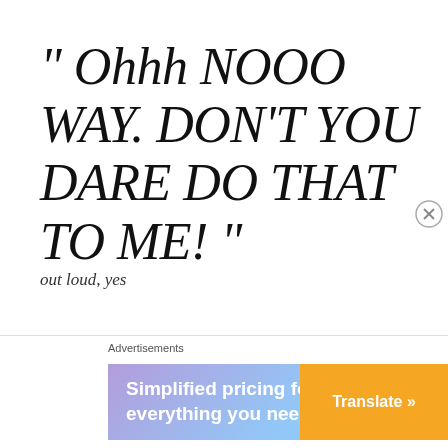" Ohhh NOOO WAY. DON'T YOU DARE DO THAT TO ME! "
out loud, yes
HAH! I kept checking the timing to be sure, only to see there was still X amount of time left. So I continued watching, waiting for the all knowing part to come. The part where everything is laid out right there and it
Advertisements
[Figure (infographic): Advertisement banner: 'Simplified pricing for everything you need.' with WordPress logo and orange Translate button]